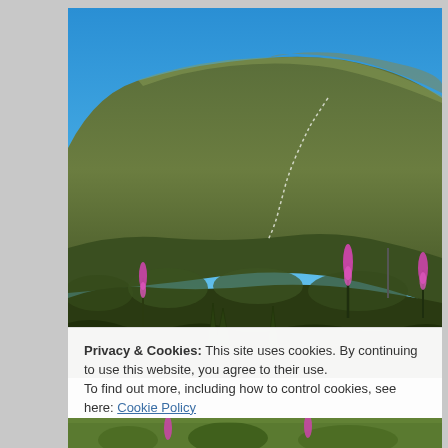[Figure (photo): Outdoor photograph of a mountain hillside covered in green fynbos vegetation under a clear blue sky. Pink flowering plants (watsonia or similar) visible in the foreground. A winding trail path is visible on the mountain slope. Blue ocean visible to the left.]
Privacy & Cookies: This site uses cookies. By continuing to use this website, you agree to their use.
To find out more, including how to control cookies, see here: Cookie Policy
Close and accept
[Figure (photo): Bottom strip of another outdoor nature photograph, partially visible.]